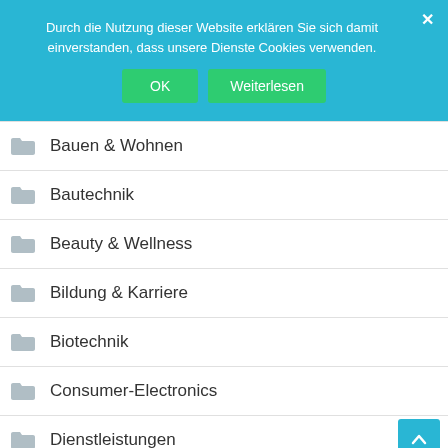Durch die Nutzung dieser Website erklären Sie sich damit einverstanden, dass unsere Dienste Cookies verwenden.
OK  Weiterlesen
Bauen & Wohnen
Bautechnik
Beauty & Wellness
Bildung & Karriere
Biotechnik
Consumer-Electronics
Dienstleistungen
E-Commerce